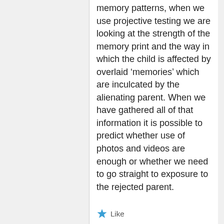memory patterns, when we use projective testing we are looking at the strength of the memory print and the way in which the child is affected by overlaid ‘memories’ which are inculcated by the alienating parent. When we have gathered all of that information it is possible to predict whether use of photos and videos are enough or whether we need to go straight to exposure to the rejected parent.
Like